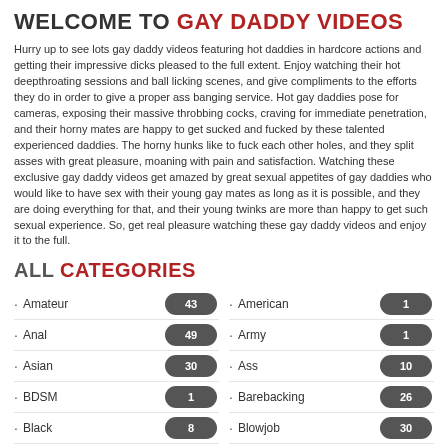WELCOME TO GAY DADDY VIDEOS
Hurry up to see lots gay daddy videos featuring hot daddies in hardcore actions and getting their impressive dicks pleased to the full extent. Enjoy watching their hot deepthroating sessions and ball licking scenes, and give compliments to the efforts they do in order to give a proper ass banging service. Hot gay daddies pose for cameras, exposing their massive throbbing cocks, craving for immediate penetration, and their horny mates are happy to get sucked and fucked by these talented experienced daddies. The horny hunks like to fuck each other holes, and they split asses with great pleasure, moaning with pain and satisfaction. Watching these exclusive gay daddy videos get amazed by great sexual appetites of gay daddies who would like to have sex with their young gay mates as long as it is possible, and they are doing everything for that, and their young twinks are more than happy to get such sexual experience. So, get real pleasure watching these gay daddy videos and enjoy it to the full.
ALL CATEGORIES
Amateur 43
American 1
Anal 49
Army 1
Asian 30
Ass 10
BDSM 1
Barebacking 26
Black 8
Blowjob 30
Boy 12
Cum 6